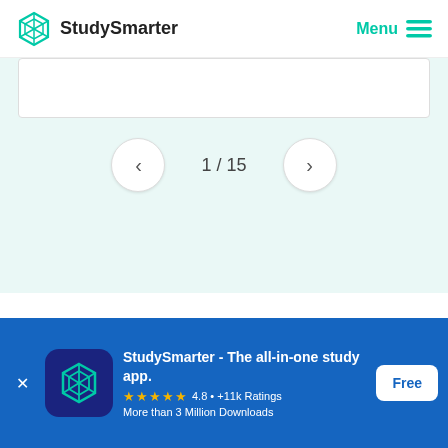[Figure (logo): StudySmarter logo with teal geometric diamond icon and bold text 'StudySmarter']
Menu ≡
[Figure (screenshot): Flashcard navigation area on teal background showing card counter '1 / 15' with left and right arrow navigation buttons]
MORE ABOUT DYSFUNCTIONAL FAMILY
[Figure (infographic): Blue app download banner: StudySmarter - The all-in-one study app. 4.8 • +11k Ratings. More than 3 Million Downloads. Free button.]